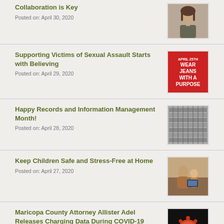Collaboration is Key
Posted on: April 30, 2020
[Figure (photo): Portrait photo of a woman with dark hair wearing a grey jacket]
Supporting Victims of Sexual Assault Starts with Believing
Posted on: April 29, 2020
[Figure (photo): Red square image with text: April 25th Wear Jeans With A Purpose]
Happy Records and Information Management Month!
Posted on: April 28, 2020
[Figure (photo): Photo of rows of filing cabinet drawers or binders]
Keep Children Safe and Stress-Free at Home
Posted on: April 27, 2020
[Figure (photo): Photo of a woman with two children looking at a tablet or book]
Maricopa County Attorney Allister Adel Releases Charging Data During COVID-19 Pandemic
Posted on: April 27, 2020
[Figure (photo): Close-up photo of a COVID-19 coronavirus particle on dark background]